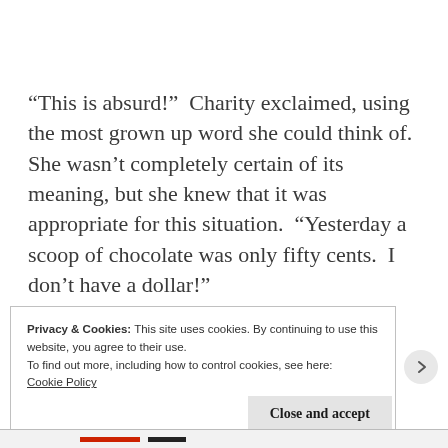“This is absurd!”  Charity exclaimed, using the most grown up word she could think of. She wasn’t completely certain of its meaning, but she knew that it was appropriate for this situation.  “Yesterday a scoop of chocolate was only fifty cents.  I don’t have a dollar!”
Privacy & Cookies: This site uses cookies. By continuing to use this website, you agree to their use.
To find out more, including how to control cookies, see here: Cookie Policy
Close and accept